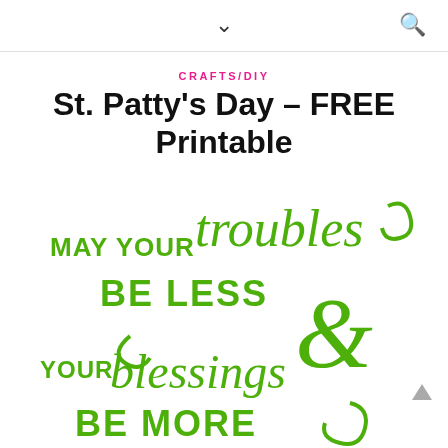navigation header with chevron and search icon
CRAFTS/DIY
St. Patty's Day – FREE Printable
[Figure (illustration): Green decorative typography illustration reading: MAY YOUR troubles BE LESS & YOUR blessings BE MORE, in mixed script and bold serif fonts in bright green color]